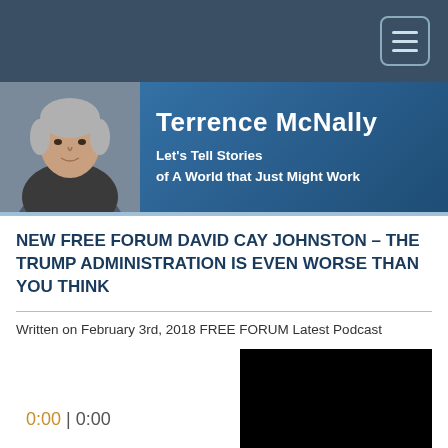Terrence McNally
Let's Tell Stories of A World that Just Might Work
NEW FREE FORUM DAVID CAY JOHNSTON – THE TRUMP ADMINISTRATION IS EVEN WORSE THAN YOU THINK
Written on February 3rd, 2018 FREE FORUM Latest Podcast
[Figure (screenshot): Audio player showing 0:00 | 0:00 with a black video thumbnail on the right]
0:00 | 0:00